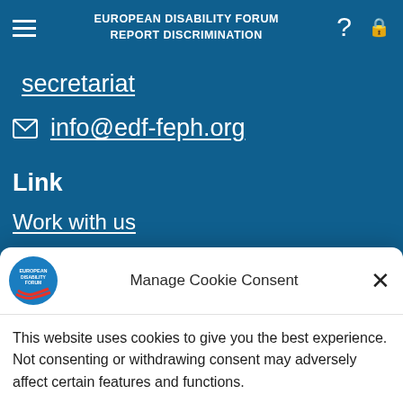EUROPEAN DISABILITY FORUM REPORT DISCRIMINATION
secretariat
info@edf-feph.org
Link
Work with us
Receive our newsletters
Contact
Manage Cookie Consent
This website uses cookies to give you the best experience. Not consenting or withdrawing consent may adversely affect certain features and functions.